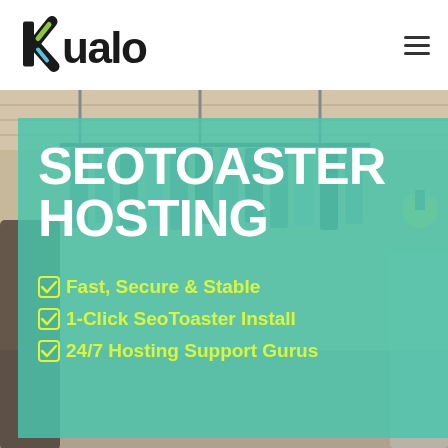[Figure (logo): Kualo logo in black with green/blue 'k' lettermark]
[Figure (illustration): Hamburger menu icon (three horizontal lines) in top right corner]
[Figure (photo): Background photo of a clothing store interior with hanging garments, overlaid with a teal/mint semi-transparent panel]
SEOTOASTER HOSTING
Fast, Secure & Stable
1-Click SeoToaster Install
24/7 Hosting Support Gurus